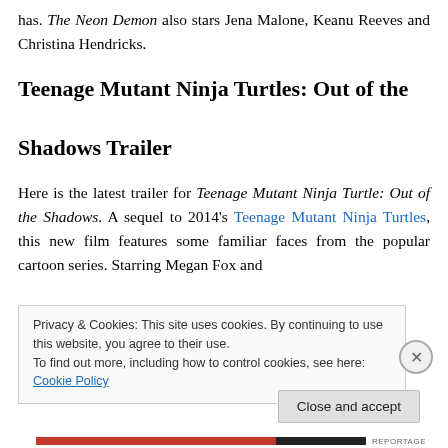has. The Neon Demon also stars Jena Malone, Keanu Reeves and Christina Hendricks.
Teenage Mutant Ninja Turtles: Out of the Shadows Trailer
Here is the latest trailer for Teenage Mutant Ninja Turtle: Out of the Shadows. A sequel to 2014's Teenage Mutant Ninja Turtles, this new film features some familiar faces from the popular cartoon series. Starring Megan Fox and
Privacy & Cookies: This site uses cookies. By continuing to use this website, you agree to their use.
To find out more, including how to control cookies, see here: Cookie Policy